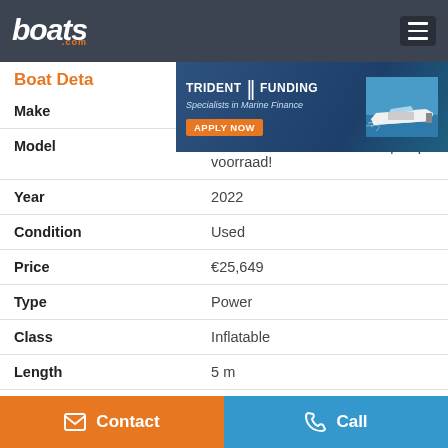boats.com
[Figure (screenshot): Trident Funding advertisement banner — Specialists in Marine Finance with APPLY NOW button and boat image]
Boat Details
| Field | Value |
| --- | --- |
| Make | Brig |
| Model | Falcon 500L met Suzuki 60 pk op voorraad! |
| Year | 2022 |
| Condition | Used |
| Price | €25,649 |
| Type | Power |
| Class | Inflatable |
| Length | 5 m |
| Hull Material | PVC |